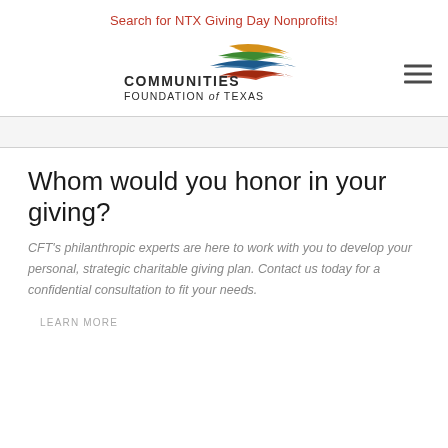Search for NTX Giving Day Nonprofits!
[Figure (logo): Communities Foundation of Texas logo with colorful swoosh graphic and text 'COMMUNITIES FOUNDATION of TEXAS']
Whom would you honor in your giving?
CFT's philanthropic experts are here to work with you to develop your personal, strategic charitable giving plan. Contact us today for a confidential consultation to fit your needs.
LEARN MORE